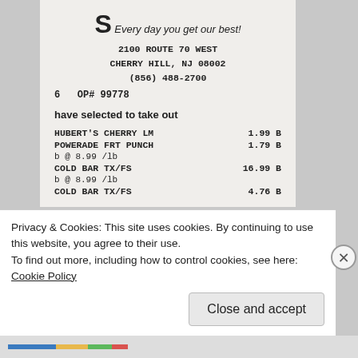[Figure (other): Store logo partial - large S with cursive tagline 'Every day you get our best!']
2100 ROUTE 70 WEST
CHERRY HILL, NJ 08002
(856) 488-2700
6  OP# 99778
have selected to take out
| Item | Price | Flag |
| --- | --- | --- |
| HUBERT'S CHERRY LM | 1.99 | B |
| POWERADE FRT PUNCH | 1.79 | B |
| b @ 8.99 /lb |  |  |
| COLD BAR TX/FS | 16.99 | B |
| b @ 8.99 /lb |  |  |
| COLD BAR TX/FS | 4.76 | B |
Privacy & Cookies: This site uses cookies. By continuing to use this website, you agree to their use.
To find out more, including how to control cookies, see here:
Cookie Policy
Close and accept